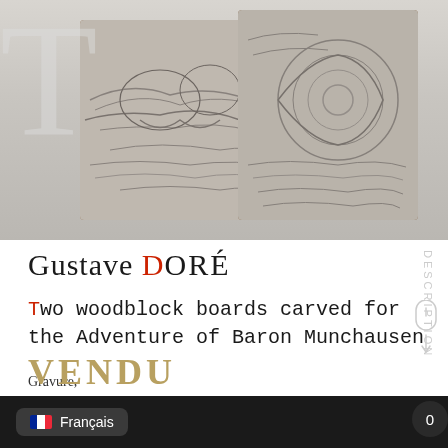[Figure (photo): Two woodblock boards with carved relief engravings, shown propped up — left board shows animals/horses in a rocky landscape, right board shows a circular/snail design. Both boards have wooden edges visible.]
Gustave DORÉ
Two woodblock boards carved for the Adventure of Baron Munchausen
Gravure,
1862
58 x 210 mm and 97 x 135 mm
VENDU